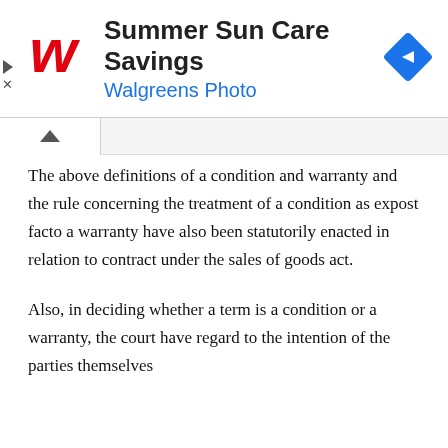[Figure (infographic): Walgreens Photo advertisement banner: Walgreens cursive W logo in red, headline 'Summer Sun Care Savings', subtitle 'Walgreens Photo' in blue, blue diamond navigation icon on the right, play and close controls on the left.]
The above definitions of a condition and warranty and the rule concerning the treatment of a condition as expost facto a warranty have also been statutorily enacted in relation to contract under the sales of goods act.
Also, in deciding whether a term is a condition or a warranty, the court have regard to the intention of the parties themselves